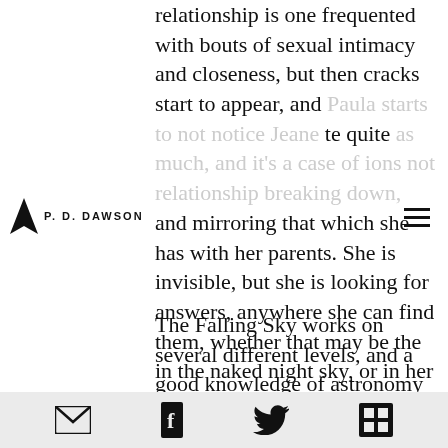P.D. DAWSON
relationship is one frequented with bouts of sexual intimacy and closeness, but then cracks start to appear, and Paula starts to not notice Jeane te quite as much, and it's a case of ions not relationship breaking down, and mirroring that which she has with her parents. She is invisible, but she is looking for answers, anywhere she can find them, whether that may be the in the naked night sky, or in her sister's old room full of swimming medals.
The Falling Sky works on several different levels, and a good knowledge of astronomy is by no means necessary, as this is more about the
email facebook twitter grid